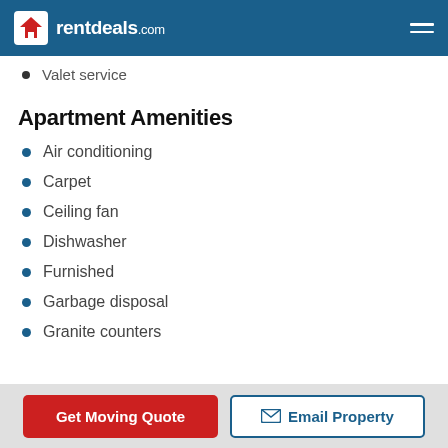rentdeals.com
Valet service
Apartment Amenities
Air conditioning
Carpet
Ceiling fan
Dishwasher
Furnished
Garbage disposal
Granite counters
Get Moving Quote   Email Property